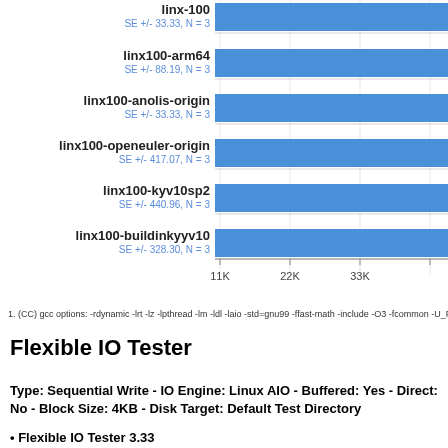[Figure (bar-chart): Horizontal bar chart - benchmark results]
1. (CC) gcc options: -rdynamic -lrt -lz -lpthread -lm -ldl -laio -std=gnu99 -ffast-math -include -O3 -fcommon -U_FORTIFY_S0
Flexible IO Tester
Type: Sequential Write - IO Engine: Linux AIO - Buffered: Yes - Direct: No - Block Size: 4KB - Disk Target: Default Test Directory
• Flexible IO Tester 3.33